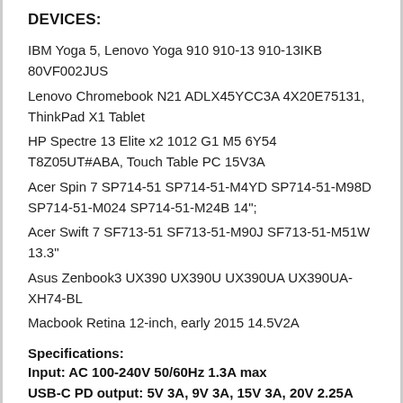DEVICES:
IBM Yoga 5, Lenovo Yoga 910 910-13 910-13IKB 80VF002JUS
Lenovo Chromebook N21 ADLX45YCC3A 4X20E75131, ThinkPad X1 Tablet
HP Spectre 13 Elite x2 1012 G1 M5 6Y54 T8Z05UT#ABA, Touch Table PC 15V3A
Acer Spin 7 SP714-51 SP714-51-M4YD SP714-51-M98D SP714-51-M024 SP714-51-M24B 14";
Acer Swift 7 SF713-51 SF713-51-M90J SF713-51-M51W 13.3"
Asus Zenbook3 UX390 UX390U UX390UA UX390UA-XH74-BL
Macbook Retina 12-inch, early 2015 14.5V2A
Specifications:
Input: AC 100-240V 50/60Hz 1.3A max
USB-C PD output: 5V 3A, 9V 3A, 15V 3A, 20V 2.25A (PPS)